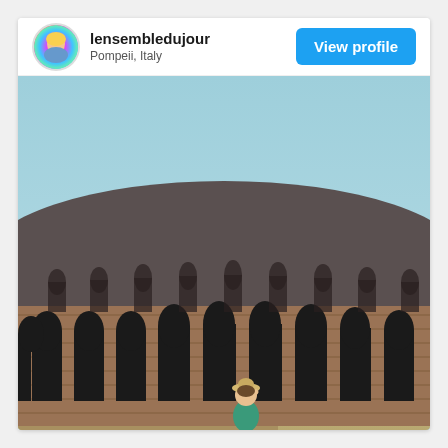lensembledujour
Pompeii, Italy
View profile
[Figure (photo): Outdoor photograph of the ancient amphitheatre at Pompeii, Italy. The image shows a large Roman brick structure with a row of tall arched openings along its exterior wall. The upper portion shows a pale blue sky. In the foreground stands a person (young woman) with a hat and teal/green top.]